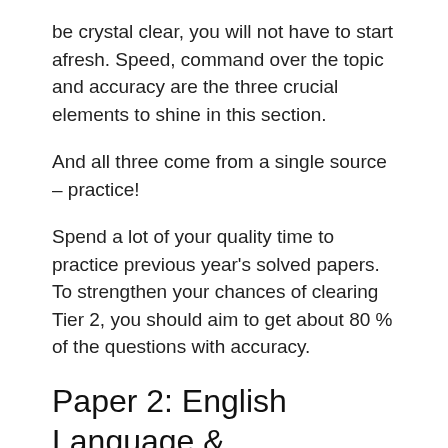be crystal clear, you will not have to start afresh. Speed, command over the topic and accuracy are the three crucial elements to shine in this section.
And all three come from a single source – practice!
Spend a lot of your quality time to practice previous year's solved papers. To strengthen your chances of clearing Tier 2, you should aim to get about 80 % of the questions with accuracy.
Paper 2: English Language & Comprehension
There will be 200 questions each carrying 1 mark.